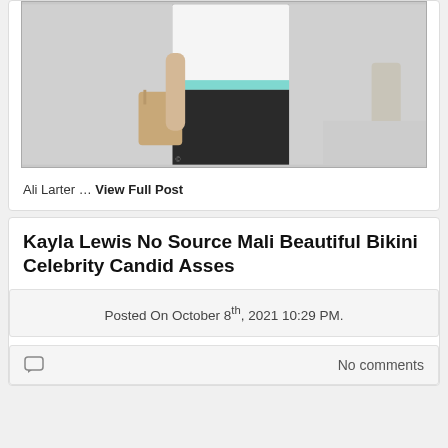[Figure (photo): Partial photo of a person wearing a white t-shirt and black leggings, carrying a bag, cropped at mid-torso]
Ali Larter … View Full Post
Kayla Lewis No Source Mali Beautiful Bikini Celebrity Candid Asses
Posted On October 8th, 2021 10:29 PM.
No comments